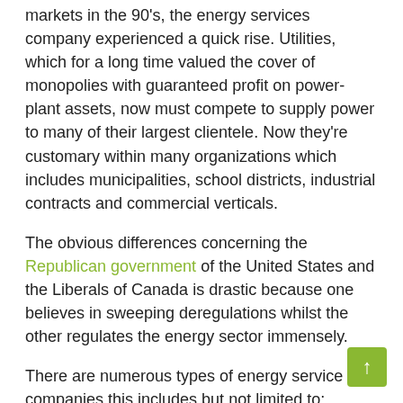markets in the 90's, the energy services company experienced a quick rise. Utilities, which for a long time valued the cover of monopolies with guaranteed profit on power-plant assets, now must compete to supply power to many of their largest clientele. Now they're customary within many organizations which includes municipalities, school districts, industrial contracts and commercial verticals.
The obvious differences concerning the Republican government of the United States and the Liberals of Canada is drastic because one believes in sweeping deregulations whilst the other regulates the energy sector immensely.
There are numerous types of energy service companies this includes but not limited to: automation, drafting, project management, drilling, fuel flare vent, industrial cleaning and countless other energy solutions. A handful